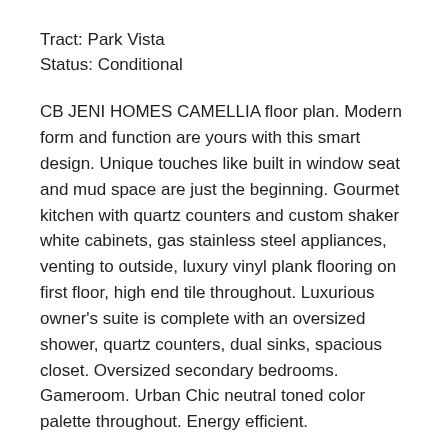Tract: Park Vista
Status: Conditional
CB JENI HOMES CAMELLIA floor plan. Modern form and function are yours with this smart design. Unique touches like built in window seat and mud space are just the beginning. Gourmet kitchen with quartz counters and custom shaker white cabinets, gas stainless steel appliances, venting to outside, luxury vinyl plank flooring on first floor, high end tile throughout. Luxurious owner’s suite is complete with an oversized shower, quartz counters, dual sinks, spacious closet. Oversized secondary bedrooms. Gameroom. Urban Chic neutral toned color palette throughout. Energy efficient.
Listed with Carole Campbell, Colleen Frost Real Estate Serv